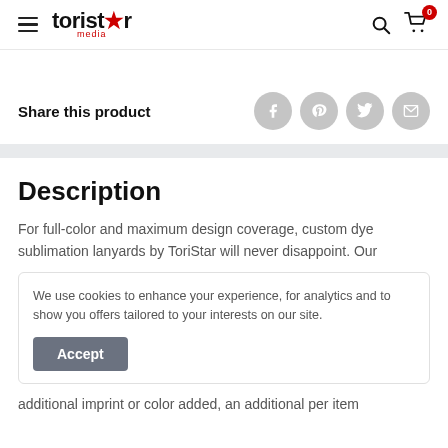toristar media — navigation header with search and cart icons
Share this product
[Figure (other): Social share icons: Facebook, Pinterest, Twitter, Email]
Description
For full-color and maximum design coverage, custom dye sublimation lanyards by ToriStar will never disappoint. Our
We use cookies to enhance your experience, for analytics and to show you offers tailored to your interests on our site.
Accept
additional imprint or color added, an additional per item